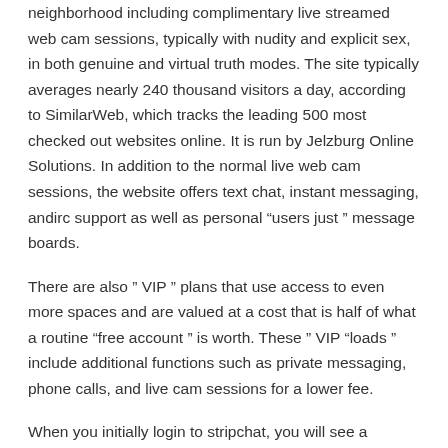neighborhood including complimentary live streamed web cam sessions, typically with nudity and explicit sex, in both genuine and virtual truth modes. The site typically averages nearly 240 thousand visitors a day, according to SimilarWeb, which tracks the leading 500 most checked out websites online. It is run by Jelzburg Online Solutions. In addition to the normal live web cam sessions, the website offers text chat, instant messaging, andirc support as well as personal “users just ” message boards.
There are also “ VIP ” plans that use access to even more spaces and are valued at a cost that is half of what a routine “free account ” is worth. These “ VIP “loads ” include additional functions such as private messaging, phone calls, and live cam sessions for a lower fee.
When you initially login to stripchat, you will see a message that says “You have signed up with the free webcam program! ” You can then click on the link to enter and start your cam session.